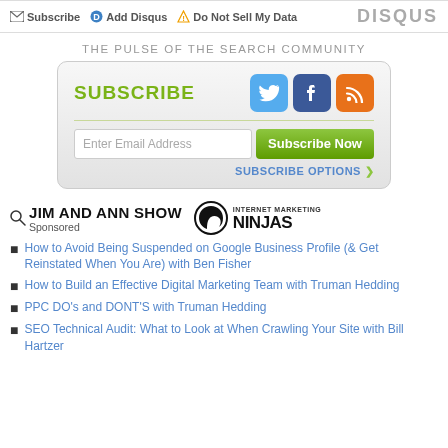Subscribe  Add Disqus  Do Not Sell My Data  DISQUS
THE PULSE OF THE SEARCH COMMUNITY
[Figure (infographic): Subscribe widget with SUBSCRIBE text in green, Twitter, Facebook, RSS social icons, email input field, Subscribe Now green button, and SUBSCRIBE OPTIONS link]
[Figure (logo): Jim And Ann Show logo with magnifying glass icon and Sponsored label, alongside Internet Marketing Ninjas logo with circular swirl icon]
How to Avoid Being Suspended on Google Business Profile (& Get Reinstated When You Are) with Ben Fisher
How to Build an Effective Digital Marketing Team with Truman Hedding
PPC DO's and DONT'S with Truman Hedding
SEO Technical Audit: What to Look at When Crawling Your Site with Bill Hartzer